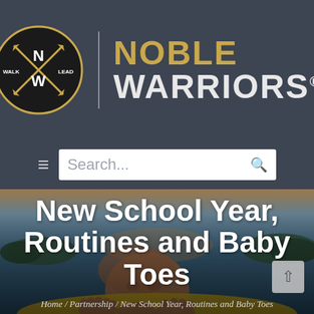[Figure (logo): Noble Warriors logo: black circle with crossed arrows and letters N, W, WALK, LEAD in gold and white, with 'NOBLE WARRIORS.' text in gold and white to the right]
[Figure (screenshot): Navigation bar with hamburger menu icon and search box on dark slate background]
[Figure (photo): Outdoor water scene photo (sunset/lake) with a bald baby's head and feet in foreground on yellow inflatable]
New School Year, Routines and Baby Toes
Home / Partnership / New School Year, Routines and Baby Toes